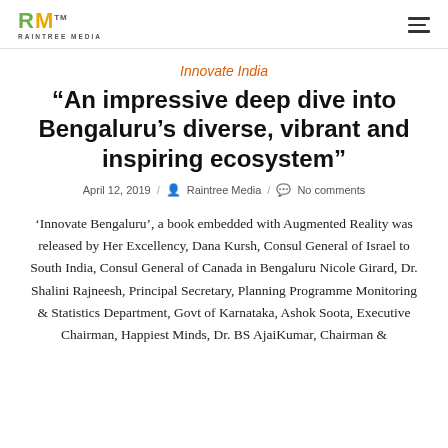RM RAINTREE MEDIA
Innovate India
“An impressive deep dive into Bengaluru’s diverse, vibrant and inspiring ecosystem”
April 12, 2019 / Raintree Media / No comments
‘Innovate Bengaluru’, a book embedded with Augmented Reality was released by Her Excellency, Dana Kursh, Consul General of Israel to South India, Consul General of Canada in Bengaluru Nicole Girard, Dr. Shalini Rajneesh, Principal Secretary, Planning Programme Monitoring & Statistics Department, Govt of Karnataka, Ashok Soota, Executive Chairman, Happiest Minds, Dr. BS AjaiKumar, Chairman &